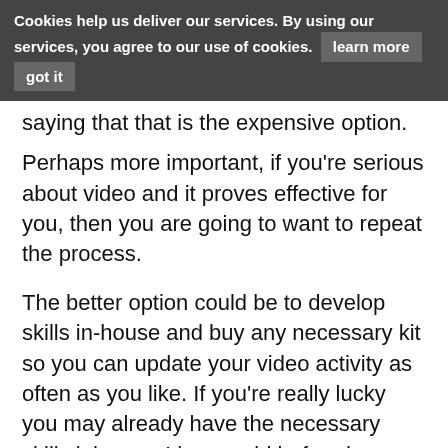Cookies help us deliver our services. By using our services, you agree to our use of cookies. learn more  got it
saying that that is the expensive option.
Perhaps more important, if you're serious about video and it proves effective for you, then you are going to want to repeat the process.
The better option could be to develop skills in-house and buy any necessary kit so you can update your video activity as often as you like. If you're really lucky you may already have the necessary skills inhouse. I have said before here 'take advantage of the skills young staff already have'. Those with a media studies qualification have